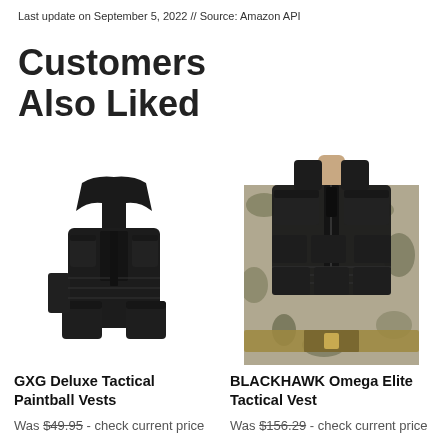Last update on September 5, 2022 // Source: Amazon API
Customers Also Liked
[Figure (photo): Black tactical paintball vest shown on its own against white background]
[Figure (photo): BLACKHAWK tactical vest worn by person in military camouflage uniform]
GXG Deluxe Tactical Paintball Vests
Was $49.95 - check current price
BLACKHAWK Omega Elite Tactical Vest
Was $156.29 - check current price